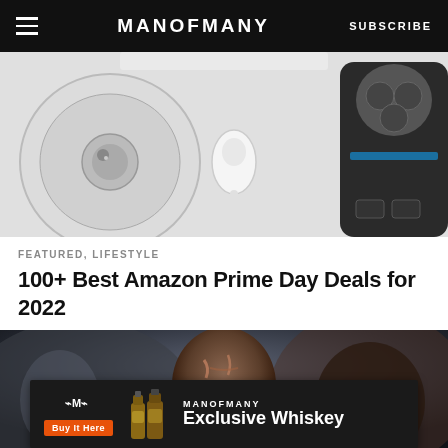MANOFMANY  SUBSCRIBE
[Figure (photo): Product flat-lay image showing a robot vacuum cleaner, white earbuds, and an electric shaver on a light grey background]
FEATURED, LIFESTYLE
100+ Best Amazon Prime Day Deals for 2022
[Figure (photo): Dark cinematic image of a bald scarred warrior character (Kratos from God of War) against a dark fantasy landscape background]
[Figure (infographic): ManOfMany Exclusive Whiskey advertisement banner with logo, Buy It Here orange button, whiskey bottle illustrations, and text reading MANOFMANY Exclusive Whiskey]